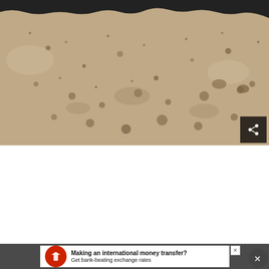[Figure (photo): Close-up photograph of sandy ground or beach surface with small pebbles, rocks, and textured sand. At the top edge there is a dark water or wet sand boundary. The image is taken from above looking down at the sand. A dark share button icon is visible in the bottom-right corner of the image.]
[Figure (infographic): Advertisement banner with dark gray background containing a white rectangular ad for international money transfer service. Features a red circular logo with a white eagle, bold text reading 'Making an international money transfer? Get bank-beating exchange rates'. Has a close X button in top right of ad and a circular X dismiss button overlapping the bottom right.]